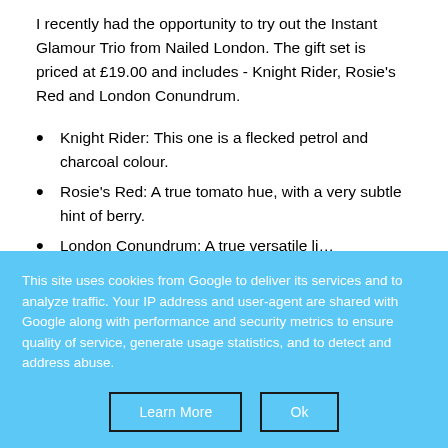I recently had the opportunity to try out the Instant Glamour Trio from Nailed London. The gift set is priced at £19.00 and includes - Knight Rider, Rosie's Red and London Conundrum.
Knight Rider: This one is a flecked petrol and charcoal colour.
Rosie's Red: A true tomato hue, with a very subtle hint of berry.
London Conundrum: (partially visible)
This site uses cookies from Google to deliver its services and to analyze traffic. Your IP address and user-agent are shared with Google along with performance and security metrics to ensure quality of service, generate usage statistics, and to detect and address abuse.